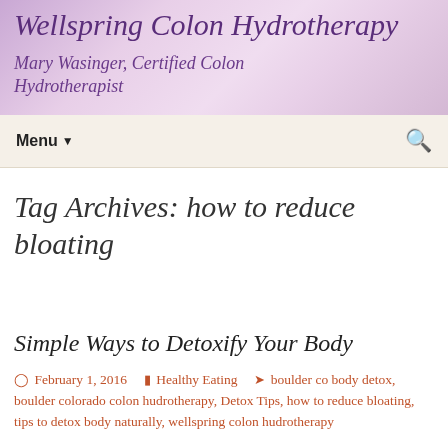Wellspring Colon Hydrotherapy
Mary Wasinger, Certified Colon Hydrotherapist
Menu
Tag Archives: how to reduce bloating
Simple Ways to Detoxify Your Body
February 1, 2016  Healthy Eating  boulder co body detox, boulder colorado colon hudrotherapy, Detox Tips, how to reduce bloating, tips to detox body naturally, wellspring colon hudrotherapy